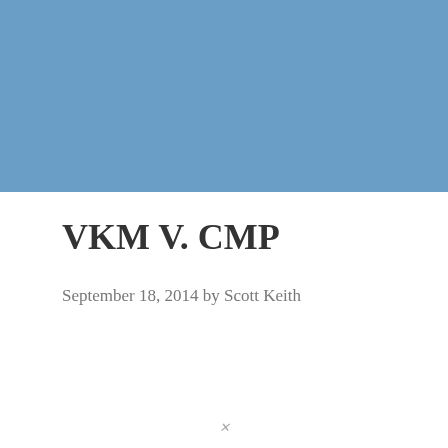[Figure (other): Solid steel-blue rectangular banner filling the top portion of the page]
VKM V. CMP
September 18, 2014 by Scott Keith